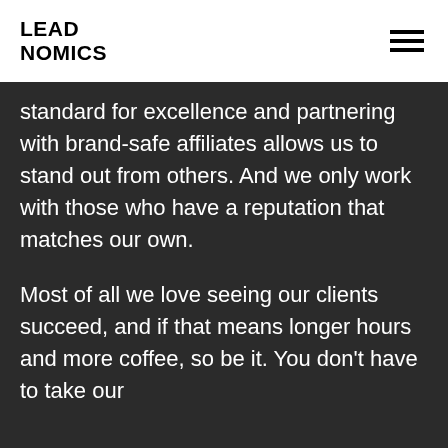LEAD NOMICS
standard for excellence and partnering with brand-safe affiliates allows us to stand out from others. And we only work with those who have a reputation that matches our own.
Most of all we love seeing our clients succeed, and if that means longer hours and more coffee, so be it. You don't have to take our